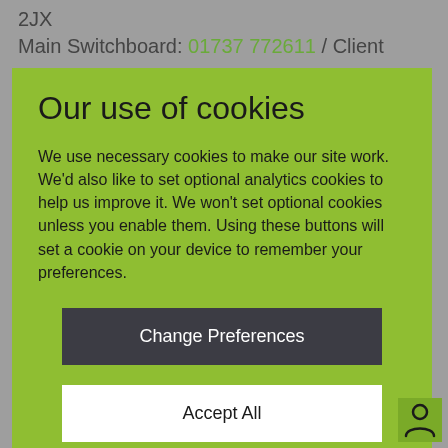2JX
Main Switchboard: 01737 772611 / Client
Our use of cookies
We use necessary cookies to make our site work. We'd also like to set optional analytics cookies to help us improve it. We won't set optional cookies unless you enable them. Using these buttons will set a cookie on your device to remember your preferences.
Change Preferences
Accept All